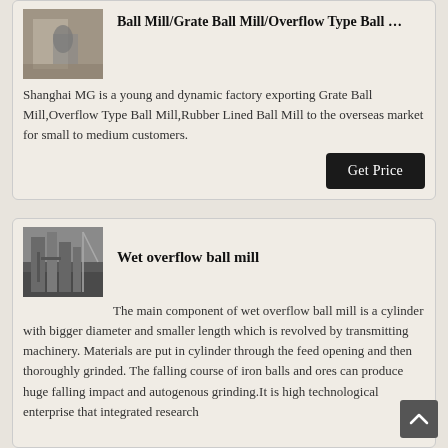[Figure (photo): Photo of ball mill equipment in a factory setting]
Ball Mill/Grate Ball Mill/Overflow Type Ball …
Shanghai MG is a young and dynamic factory exporting Grate Ball Mill,Overflow Type Ball Mill,Rubber Lined Ball Mill to the overseas market for small to medium customers.
[Figure (photo): Photo of wet overflow ball mill industrial facility with silos and towers]
Wet overflow ball mill
The main component of wet overflow ball mill is a cylinder with bigger diameter and smaller length which is revolved by transmitting machinery. Materials are put in cylinder through the feed opening and then thoroughly grinded. The falling course of iron balls and ores can produce huge falling impact and autogenous grinding.It is high technological enterprise that integrated research